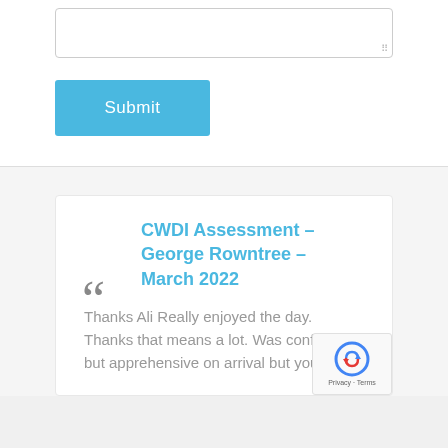[Figure (other): Text area input box with resize handle]
[Figure (other): Blue Submit button]
CWDI Assessment – George Rowntree – March 2022
Thanks Ali Really enjoyed the day. Thanks that means a lot. Was confident but apprehensive on arrival but you set